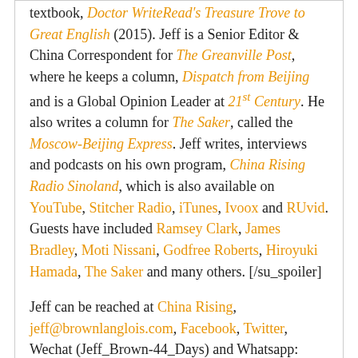textbook, Doctor WriteRead's Treasure Trove to Great English (2015). Jeff is a Senior Editor & China Correspondent for The Greanville Post, where he keeps a column, Dispatch from Beijing and is a Global Opinion Leader at 21st Century. He also writes a column for The Saker, called the Moscow-Beijing Express. Jeff writes, interviews and podcasts on his own program, China Rising Radio Sinoland, which is also available on YouTube, Stitcher Radio, iTunes, Ivoox and RUvid. Guests have included Ramsey Clark, James Bradley, Moti Nissani, Godfree Roberts, Hiroyuki Hamada, The Saker and many others. [/su_spoiler]
Jeff can be reached at China Rising, jeff@brownlanglois.com, Facebook, Twitter, Wechat (Jeff_Brown-44_Days) and Whatsapp: +86-13823544196.
Read it in your language • Lealo en su idioma • Lisez-le dans votre langue • Lies es in deniner Sprache • Прочитайте это на вашем языке • 読んでみて
[Figure (other): Orange Translate button with right arrow]